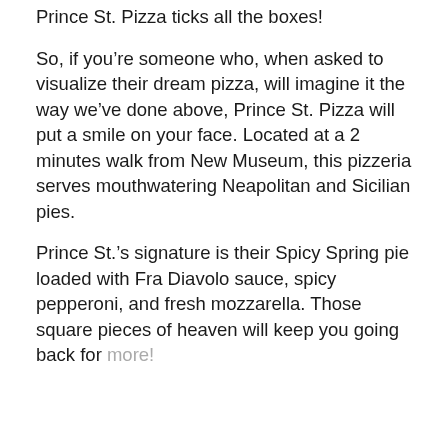Prince St. Pizza ticks all the boxes!
So, if you’re someone who, when asked to visualize their dream pizza, will imagine it the way we’ve done above, Prince St. Pizza will put a smile on your face. Located at a 2 minutes walk from New Museum, this pizzeria serves mouthwatering Neapolitan and Sicilian pies.
Prince St.’s signature is their Spicy Spring pie loaded with Fra Diavolo sauce, spicy pepperoni, and fresh mozzarella. Those square pieces of heaven will keep you going back for more!